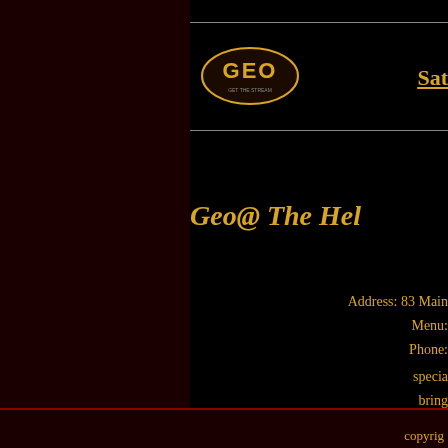[Figure (logo): GEO logo - oval shape with GEO text in gold/yellow on dark background with tagline below]
Sat
Geo@ The Hel
Address: 83 Main
Menu:
Phone:
specia
bring
Powered by Coranto
copyrig